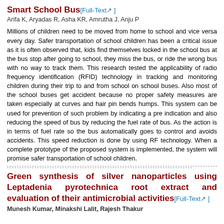Smart School Bus[Full-Text]
Arifa K, Aryadas R, Asha KR, Amrutha J, Anju P
Millions of children need to be moved from home to school and vice versa every day. Safer transportation of school children has been a critical issue as it is often observed that, kids find themselves locked in the school bus at the bus stop after going to school, they miss the bus, or ride the wrong bus with no way to track them. This research tested the applicability of radio frequency identification (RFID) technology in tracking and monitoring children during their trip to and from school on school buses. Also most of the school buses get accident because no proper safety measures are taken especially at curves and hair pin bends humps. This system can be used for prevention of such problem by indicating a pre indication and also reducing the speed of bus by reducing the fuel rate of bus. As the action is in terms of fuel rate so the bus automatically goes to control and avoids accidents. This speed reduction is done by using RF technology. When a complete prototype of the proposed system is implemented, the system will promise safer transportation of school children.
Green synthesis of silver nanoparticles using Leptadenia pyrotechnica root extract and evaluation of their antimicrobial activities[Full-Text]
Munesh Kumar, Minakshi Lalit, Rajesh Thakur